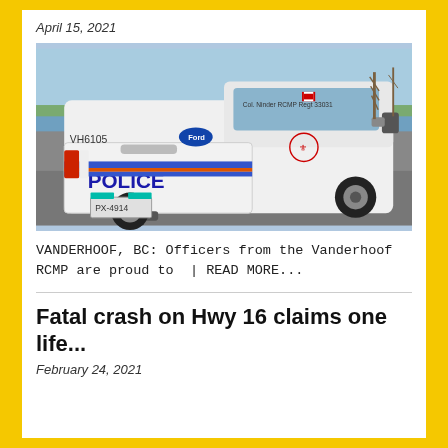April 15, 2021
[Figure (photo): Rear view of a white RCMP police Ford pickup truck (VH6105) parked on a road with bare trees and water in the background. The tailgate reads POLICE with blue and orange stripes.]
VANDERHOOF, BC: Officers from the Vanderhoof RCMP are proud to | READ MORE...
Fatal crash on Hwy 16 claims one life...
February 24, 2021